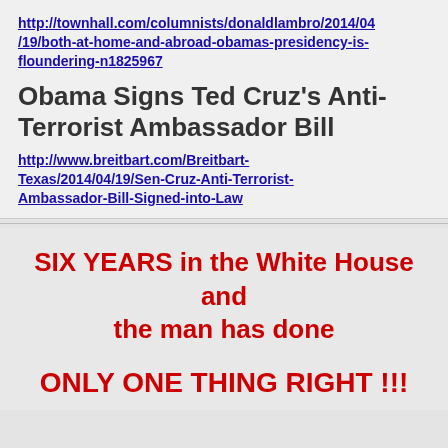http://townhall.com/columnists/donaldlambro/2014/04/19/both-at-home-and-abroad-obamas-presidency-is-floundering-n1825967
Obama Signs Ted Cruz's Anti-Terrorist Ambassador Bill
http://www.breitbart.com/Breitbart-Texas/2014/04/19/Sen-Cruz-Anti-Terrorist-Ambassador-Bill-Signed-into-Law
SIX YEARS in the White House and the man has done ONLY ONE THING RIGHT !!!